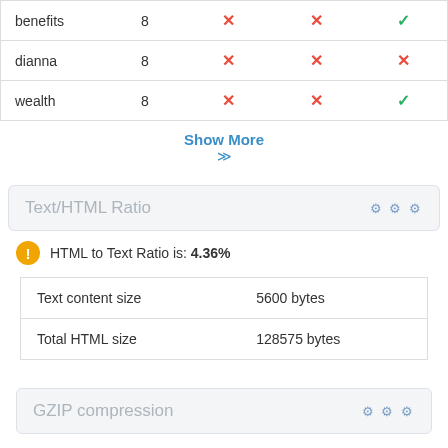|  |  |  |  |  |
| --- | --- | --- | --- | --- |
| benefits | 8 | ✗ | ✗ | ✓ |
| dianna | 8 | ✗ | ✗ | ✗ |
| wealth | 8 | ✗ | ✗ | ✓ |
Show More
Text/HTML Ratio
HTML to Text Ratio is: 4.36%
|  |  |
| --- | --- |
| Text content size | 5600 bytes |
| Total HTML size | 128575 bytes |
GZIP compression